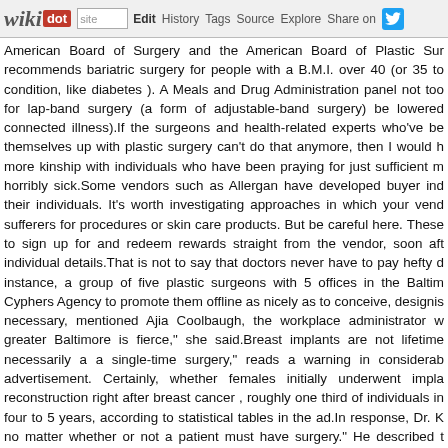wikidot | site | Edit | History | Tags | Source | Explore | Share on [Twitter]
American Board of Surgery and the American Board of Plastic Surgery recommends bariatric surgery for people with a B.M.I. over 40 (or 35 to condition, like diabetes ). A Meals and Drug Administration panel not too for lap-band surgery (a form of adjustable-band surgery) be lowered connected illness).If the surgeons and health-related experts who've been themselves up with plastic surgery can't do that anymore, then I would more kinship with individuals who have been praying for just sufficient m horribly sick.Some vendors such as Allergan have developed buyer ind their individuals. It's worth investigating approaches in which your vend sufferers for procedures or skin care products. But be careful here. Thes to sign up for and redeem rewards straight from the vendor, soon aft individual details.That is not to say that doctors never have to pay hefty c instance, a group of five plastic surgeons with 5 offices in the Baltim Cyphers Agency to promote them offline as nicely as to conceive, design is necessary, mentioned Ajia Coolbaugh, the workplace administrator greater Baltimore is fierce," she said.Breast implants are not lifetim necessarily a a single-time surgery," reads a warning in considerab advertisement. Certainly, whether females initially underwent impla reconstruction right after breast cancer , roughly one third of individuals four to 5 years, according to statistical tables in the ad.In response, Dr. K no matter whether or not a patient must have surgery." He described folks." They make confident sufferers comprehend what they are obta through the following web site speak about the physician," he mentione whack. I came out of surgery with a half-dozen Steri-Strips across my r and the nurse stated she'd had a patient after who actually had slamm me.After cosmetic surgery , it really is ideal to take it simple for a handfu recover. Regardless of whether you have had a face-lift or rhinoplasty, look at a couple of aftercare suggestions to comply with, and-of coun guidelines for first aftercare as you will from the physician.